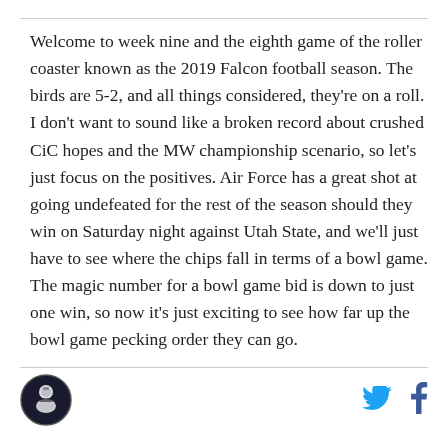Welcome to week nine and the eighth game of the roller coaster known as the 2019 Falcon football season. The birds are 5-2, and all things considered, they're on a roll. I don't want to sound like a broken record about crushed CiC hopes and the MW championship scenario, so let's just focus on the positives. Air Force has a great shot at going undefeated for the rest of the season should they win on Saturday night against Utah State, and we'll just have to see where the chips fall in terms of a bowl game. The magic number for a bowl game bid is down to just one win, so now it's just exciting to see how far up the bowl game pecking order they can go.
[Figure (logo): Circular logo with a falcon/military figure icon in the center, dark background with white border]